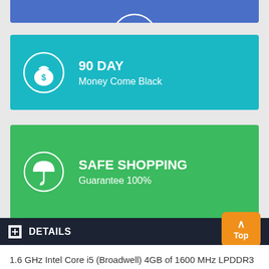[Figure (infographic): Blue banner partial at top]
[Figure (infographic): Teal card with money bag icon, 90 DAY Money Come Black]
[Figure (infographic): Green card with umbrella icon, SAFE SHOPPING Guarantee 100%]
+ DETAILS
1.6 GHz Intel Core i5 (Broadwell) 4GB of 1600 MHz LPDDR3 RAM 256GB PCIe-Based Flash Storage Integrated Intel HD Graphics 6000 13.3" LED-Backlit Glossy Display